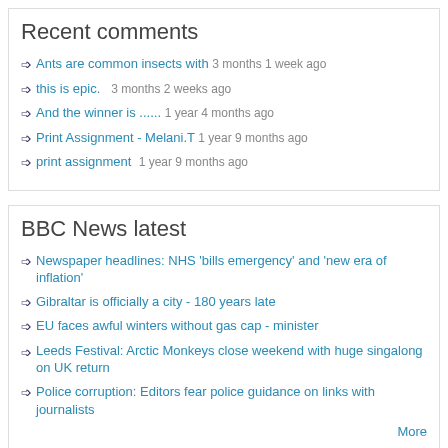Recent comments
Ants are common insects with 3 months 1 week ago
this is epic.   3 months 2 weeks ago
And the winner is ...... 1 year 4 months ago
Print Assignment - Melani.T 1 year 9 months ago
print assignment  1 year 9 months ago
BBC News latest
Newspaper headlines: NHS 'bills emergency' and 'new era of inflation'
Gibraltar is officially a city - 180 years late
EU faces awful winters without gas cap - minister
Leeds Festival: Arctic Monkeys close weekend with huge singalong on UK return
Police corruption: Editors fear police guidance on links with journalists
More
Powered by Drupal
Copyright © 2022,
Designed by Zymphonies